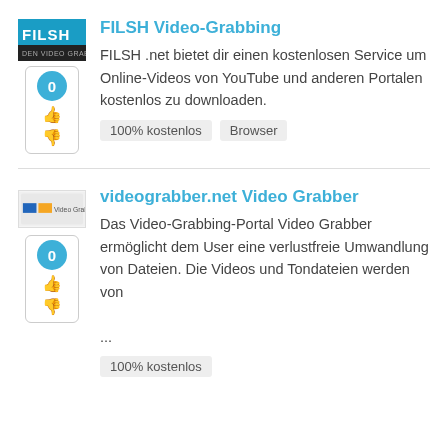FILSH Video-Grabbing
FILSH .net bietet dir einen kostenlosen Service um Online-Videos von YouTube und anderen Portalen kostenlos zu downloaden.
100% kostenlos
Browser
videograbber.net Video Grabber
Das Video-Grabbing-Portal Video Grabber ermöglicht dem User eine verlustfreie Umwandlung von Dateien. Die Videos und Tondateien werden von

...
100% kostenlos